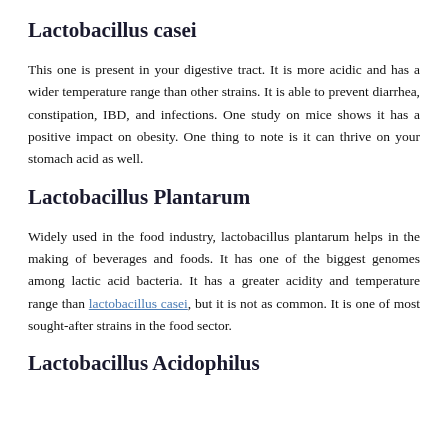Lactobacillus casei
This one is present in your digestive tract. It is more acidic and has a wider temperature range than other strains. It is able to prevent diarrhea, constipation, IBD, and infections. One study on mice shows it has a positive impact on obesity. One thing to note is it can thrive on your stomach acid as well.
Lactobacillus Plantarum
Widely used in the food industry, lactobacillus plantarum helps in the making of beverages and foods. It has one of the biggest genomes among lactic acid bacteria. It has a greater acidity and temperature range than lactobacillus casei, but it is not as common. It is one of most sought-after strains in the food sector.
Lactobacillus Acidophilus